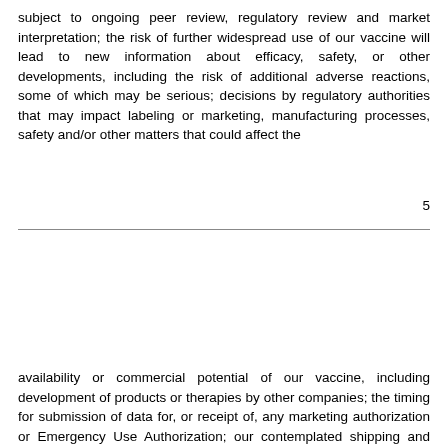subject to ongoing peer review, regulatory review and market interpretation; the risk of further widespread use of our vaccine will lead to new information about efficacy, safety, or other developments, including the risk of additional adverse reactions, some of which may be serious; decisions by regulatory authorities that may impact labeling or marketing, manufacturing processes, safety and/or other matters that could affect the
5
availability or commercial potential of our vaccine, including development of products or therapies by other companies; the timing for submission of data for, or receipt of, any marketing authorization or Emergency Use Authorization; our contemplated shipping and storage plan, including our